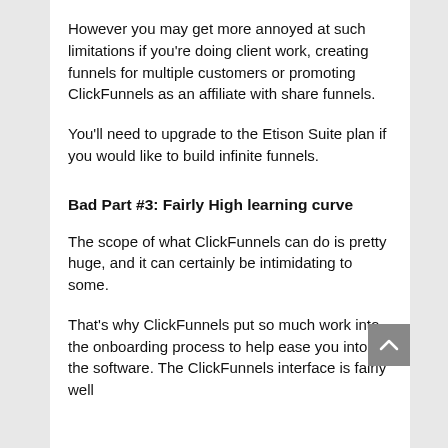However you may get more annoyed at such limitations if you're doing client work, creating funnels for multiple customers or promoting ClickFunnels as an affiliate with share funnels.
You'll need to upgrade to the Etison Suite plan if you would like to build infinite funnels.
Bad Part #3: Fairly High learning curve
The scope of what ClickFunnels can do is pretty huge, and it can certainly be intimidating to some.
That's why ClickFunnels put so much work into the onboarding process to help ease you into the software. The ClickFunnels interface is fairly well